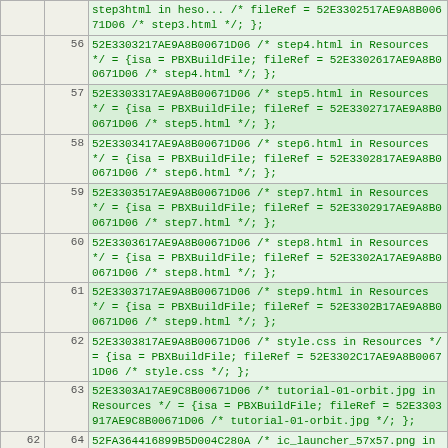|  |  | code |
| --- | --- | --- |
|  |  | step3html in heso.../* fileRef = 52E3302517AE9A8B00671D06 /* step3.html */; }; |
|  | 56 | 52E3303217AE9A8B00671D06 /* step4.html in Resources */ = {isa = PBXBuildFile; fileRef = 52E3302617AE9A8B00671D06 /* step4.html */; }; |
|  | 57 | 52E3303317AE9A8B00671D06 /* step5.html in Resources */ = {isa = PBXBuildFile; fileRef = 52E3302717AE9A8B00671D06 /* step5.html */; }; |
|  | 58 | 52E3303417AE9A8B00671D06 /* step6.html in Resources */ = {isa = PBXBuildFile; fileRef = 52E3302817AE9A8B00671D06 /* step6.html */; }; |
|  | 59 | 52E3303517AE9A8B00671D06 /* step7.html in Resources */ = {isa = PBXBuildFile; fileRef = 52E3302917AE9A8B00671D06 /* step7.html */; }; |
|  | 60 | 52E3303617AE9A8B00671D06 /* step8.html in Resources */ = {isa = PBXBuildFile; fileRef = 52E3302A17AE9A8B00671D06 /* step8.html */; }; |
|  | 61 | 52E3303717AE9A8B00671D06 /* step9.html in Resources */ = {isa = PBXBuildFile; fileRef = 52E3302B17AE9A8B00671D06 /* step9.html */; }; |
|  | 62 | 52E3303817AE9A8B00671D06 /* style.css in Resources */ = {isa = PBXBuildFile; fileRef = 52E3302C17AE9A8B00671D06 /* style.css */; }; |
|  | 63 | 52E3303A17AE9C8B00671D06 /* tutorial-01-orbit.jpg in Resources */ = {isa = PBXBuildFile; fileRef = 52E3303917AE9C8B00671D06 /* tutorial-01-orbit.jpg */; }; |
| 62 | 64 | 52FA364416899B5D004C280A /* ic_launcher_57x57.png in Resources */ = {isa = |